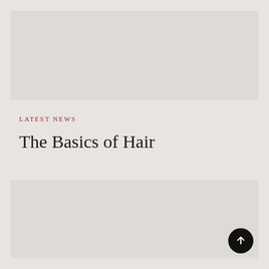[Figure (photo): Top image placeholder block with light gray background]
LATEST NEWS
The Basics of Hair
[Figure (photo): Bottom image placeholder block with light gray background]